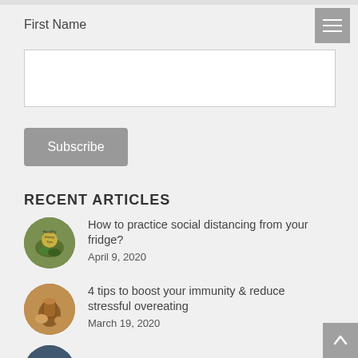First Name
Subscribe
RECENT ARTICLES
How to practice social distancing from your fridge?
April 9, 2020
4 tips to boost your immunity & reduce stressful overeating
March 19, 2020